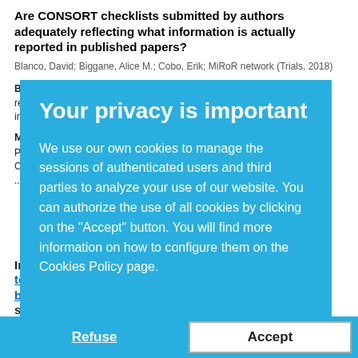Are CONSORT checklists submitted by authors adequately reflecting what information is actually reported in published papers?
Blanco, David; Biggane, Alice M.; Cobo, Erik; MiRoR network (Trials, 2018)
Background: Compulsory submission of a checklist from the relevant reporting guideline is among the most widespread journal requirements to improve CONSORT. Completeness of reporting. Ho...
Methods: ... as a timer in the CONSORT...
Pérez, ...; Josep; Aldea, Ma...; Ce...; e generations to ... der behaviors ha... dinate growth ...
[Figure (screenshot): Privacy overlay dialog on blue background reading: 'Your privacy is important. We use our own cookies to manage the sessions of authenticated users and third parties to analyze your use of our website. You can authorize the use of all cookies by clicking on the Accept button. You will find more information on how to configure them on the Cookies Policy page.']
Influence of core-stability exercises guided by a telerehabilitation app on trunk performance, balance and gait performance in chronic stroke survivors: a preliminary randomized controlled trial